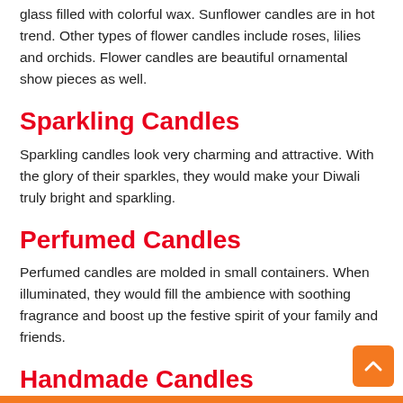glass filled with colorful wax. Sunflower candles are in hot trend. Other types of flower candles include roses, lilies and orchids. Flower candles are beautiful ornamental show pieces as well.
Sparkling Candles
Sparkling candles look very charming and attractive. With the glory of their sparkles, they would make your Diwali truly bright and sparkling.
Perfumed Candles
Perfumed candles are molded in small containers. When illuminated, they would fill the ambience with soothing fragrance and boost up the festive spirit of your family and friends.
Handmade Candles
There are handmade designer candles available in shapes of various fruits such as apple, orange, mango, lemon etc. and colored accordingly. These candles when lighted fill in your ambience with